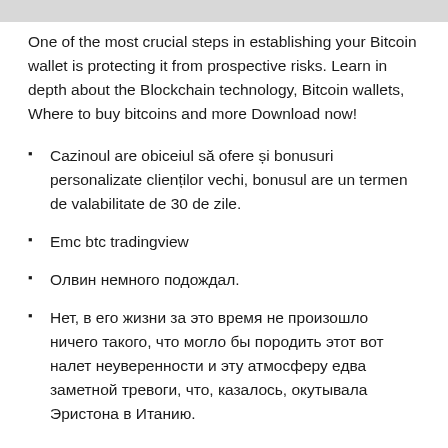One of the most crucial steps in establishing your Bitcoin wallet is protecting it from prospective risks. Learn in depth about the Blockchain technology, Bitcoin wallets, Where to buy bitcoins and more Download now!
Cazinoul are obiceiul să ofere și bonusuri personalizate clienților vechi, bonusul are un termen de valabilitate de 30 de zile.
Emc btc tradingview
Олвин немного подождал.
Нет, в его жизни за это время не произошло ничего такого, что могло бы породить этот вот налет неуверенности и эту атмосферу едва заметной тревоги, что, казалось, окутывала Эристона в Итанию.